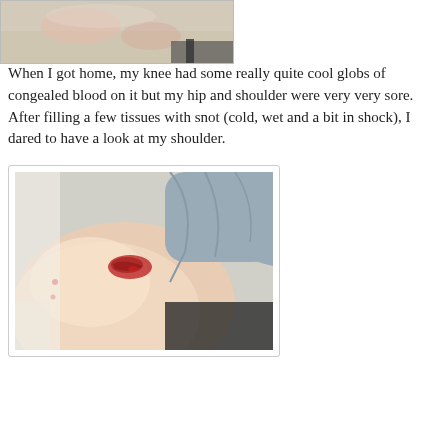[Figure (photo): Close-up photo of skin, possibly a knee, showing redness and irritation with congealed blood]
When I got home, my knee had some really quite cool globs of congealed blood on it but my hip and shoulder were very very sore.  After filling a few tissues with snot (cold, wet and a bit in shock), I dared to have a look at my shoulder.
[Figure (photo): Photo of a person's shoulder showing a red scrape/abrasion wound, with a grey sleeve pulled up]